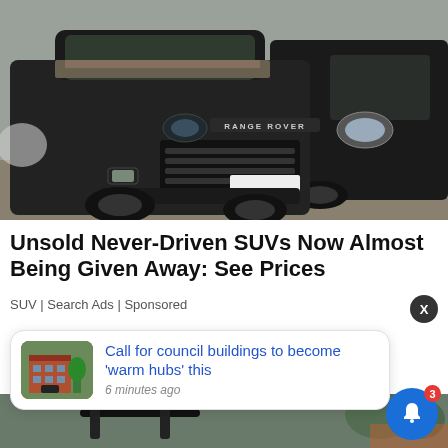[Figure (photo): Two dirty black SUVs parked side by side, the left one is a Range Rover Evoque covered in mud and debris on the hood, the right one is a black van/SUV. Outdoor setting.]
Unsold Never-Driven SUVs Now Almost Being Given Away: See Prices
SUV | Search Ads | Sponsored
[Figure (screenshot): Notification card showing a red brick building thumbnail on the left and text: 'Call for council buildings to become 'warm hubs' this' with timestamp '6 minutes ago']
[Figure (photo): Bottom strip showing a bicycle handlebar against a blurred outdoor background]